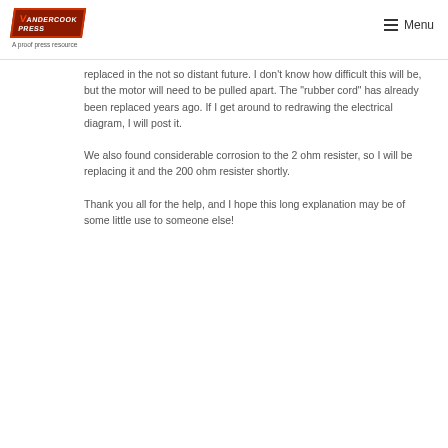Vandercook Press — A proof press resource | Menu
replaced in the not so distant future. I don't know how difficult this will be, but the motor will need to be pulled apart. The “rubber cord” has already been replaced years ago. If I get around to redrawing the electrical diagram, I will post it.
We also found considerable corrosion to the 2 ohm resister, so I will be replacing it and the 200 ohm resister shortly.
Thank you all for the help, and I hope this long explanation may be of some little use to someone else!